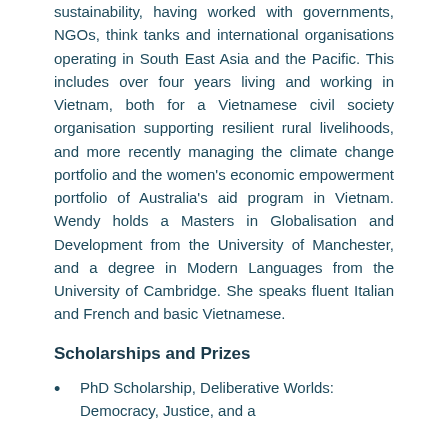sustainability, having worked with governments, NGOs, think tanks and international organisations operating in South East Asia and the Pacific. This includes over four years living and working in Vietnam, both for a Vietnamese civil society organisation supporting resilient rural livelihoods, and more recently managing the climate change portfolio and the women's economic empowerment portfolio of Australia's aid program in Vietnam. Wendy holds a Masters in Globalisation and Development from the University of Manchester, and a degree in Modern Languages from the University of Cambridge. She speaks fluent Italian and French and basic Vietnamese.
Scholarships and Prizes
PhD Scholarship, Deliberative Worlds: Democracy, Justice, and a